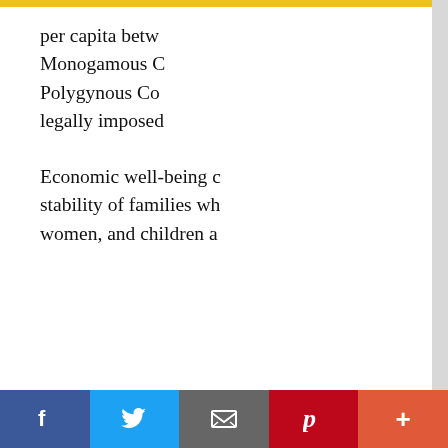per capita betw... Monogamous C... Polygynous Co... legally imposed...
Economic well-being c... stability of families wh... women, and children a...
Subscribe to Public Discourse!
Daily Emails
Weekly Emails
Email
First Name
Last Name
We use cookies on our we... relevant experience by rem... repeat visits. By clicking "A... of ALL the cookies. Howev... Settings" to provide a con...